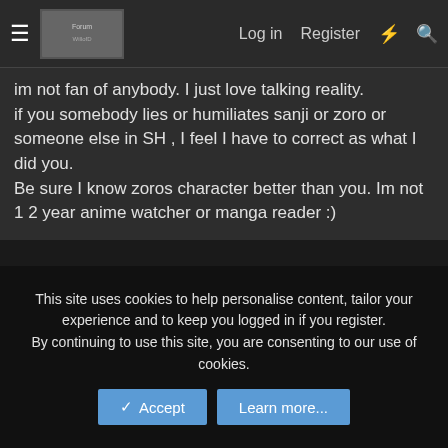≡  [logo]   Log in   Register   ⚡   🔍
im not fan of anybody. I just love talking reality.
if you somebody lies or humiliates sanji or zoro or someone else in SH , I feel I have to correct as what I did you.
Be sure I know zoros character better than you. Im not 1 2 year anime watcher or manga reader :)
◄◄  ◄ Prev   561 of 561
🔒 Not open for further replies.
Share:  f  🐦  G+  👽  𝗣  t  📱  ✉  🔗
< One Piece Spoilers
This site uses cookies to help personalise content, tailor your experience and to keep you logged in if you register.
By continuing to use this site, you are consenting to our use of cookies.
✓ Accept   Learn more...